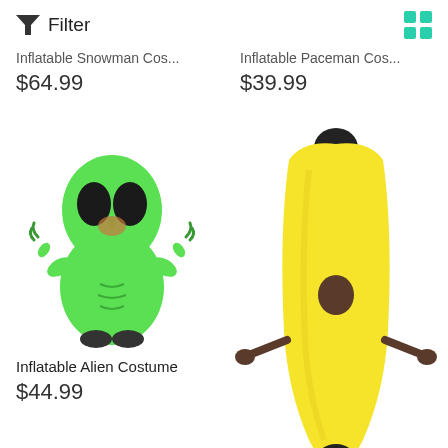Filter
Inflatable Snowman Cos... $64.99
Inflatable Paceman Cos... $39.99
[Figure (photo): Inflatable Alien Costume — a person wearing a green inflatable alien costume with large alien head]
Inflatable Alien Costume
$44.99
[Figure (photo): Inflatable Banana Costume — a person wearing a large yellow inflatable banana costume with black tips]